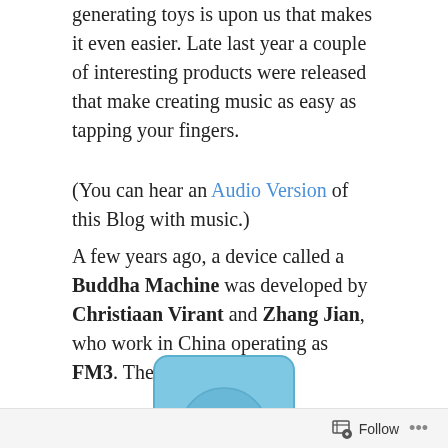electronic keyboards. Now a new generation of music-generating toys is upon us that makes it even easier. Late last year a couple of interesting products were released that make creating music as easy as tapping your fingers.
(You can hear an Audio Version of this Blog with music.)
A few years ago, a device called a Buddha Machine was developed by Christiaan Virant and Zhang Jian, who work in China operating as FM3. The
[Figure (photo): A small light blue rectangular device resembling a portable speaker or radio, with a circular speaker grille in the center.]
Buddha Machine is like a cheap transistor radio from the 50s, but instead of Elvis Presley and Chuck Berry, it
Follow ...